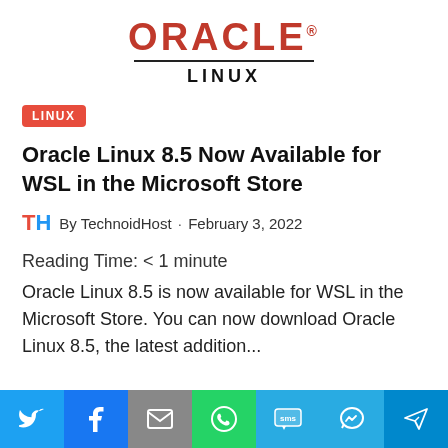[Figure (logo): Oracle Linux logo: red ORACLE text with trademark symbol, horizontal divider line, bold LINUX text below]
LINUX
Oracle Linux 8.5 Now Available for WSL in the Microsoft Store
By TechnoidHost · February 3, 2022
Reading Time: < 1 minute
Oracle Linux 8.5 is now available for WSL in the Microsoft Store. You can now download Oracle Linux 8.5, the latest addition...
[Figure (infographic): Social share bar with Twitter, Facebook, Email, WhatsApp, SMS, Messenger, and Telegram buttons]